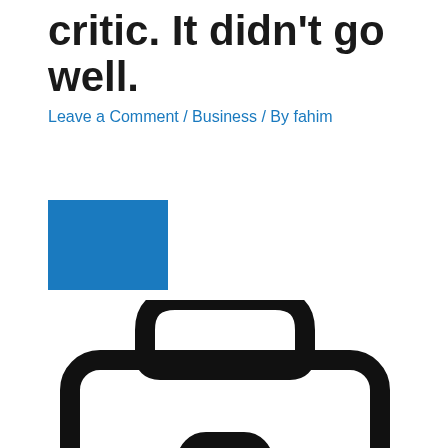critic. It didn't go well.
Leave a Comment / Business / By fahim
[Figure (illustration): Blue rectangle (placeholder image)]
[Figure (illustration): Large black outline icon of a briefcase with handle on top and latch in the middle, and small black squares at the bottom corners]